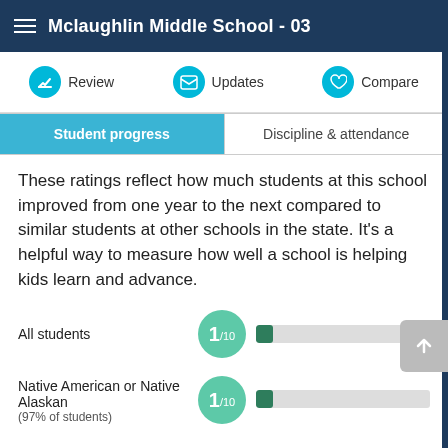Mclaughlin Middle School - 03
Review   Updates   Compare
Student progress   Discipline & attendance
These ratings reflect how much students at this school improved from one year to the next compared to similar students at other schools in the state. It's a helpful way to measure how well a school is helping kids learn and advance.
All students — 1/10
Native American or Native Alaskan (97% of students) — 1/10